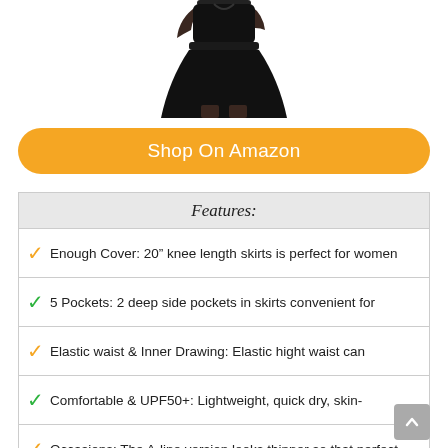[Figure (photo): Woman wearing black knee-length skirt, cropped view showing torso and legs on white background]
Shop On Amazon
| Feature |
| --- |
| Enough Cover: 20" knee length skirts is perfect for women |
| 5 Pockets: 2 deep side pockets in skirts convenient for |
| Elastic waist & Inner Drawing: Elastic hight waist can |
| Comfortable & UPF50+: Lightweight, quick dry, skin- |
| Occasions: The A-line version looks thinner so that perfect |
6. EKOUAER LIGHTWEIGHT SKORT FOR WOMEN GOLF SKIRT WITH UNDERNEATH SHORTS TENNIS WORKOUT HIKING SPORT BLACK